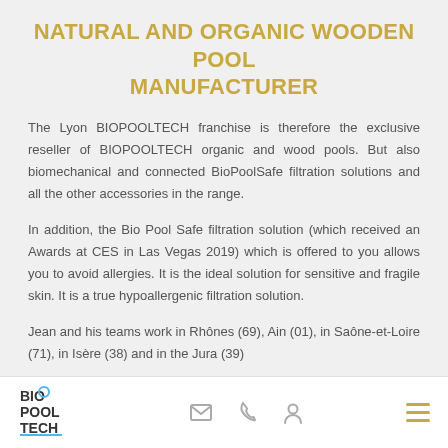NATURAL AND ORGANIC WOODEN POOL MANUFACTURER
The Lyon BIOPOOLTECH franchise is therefore the exclusive reseller of BIOPOOLTECH organic and wood pools. But also biomechanical and connected BioPoolSafe filtration solutions and all the other accessories in the range.
In addition, the Bio Pool Safe filtration solution (which received an Awards at CES in Las Vegas 2019) which is offered to you allows you to avoid allergies. It is the ideal solution for sensitive and fragile skin. It is a true hypoallergenic filtration solution.
Jean and his teams work in Rhônes (69), Ain (01), in Saône-et-Loire (71), in Isère (38) and in the Jura (39)
BioPoolTech logo and navigation icons